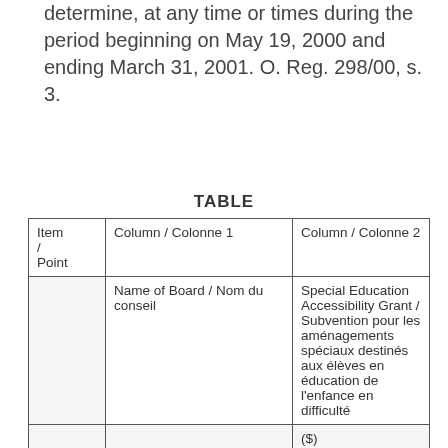determine, at any time or times during the period beginning on May 19, 2000 and ending March 31, 2001. O. Reg. 298/00, s. 3.
TABLE
| Item / Point | Column / Colonne 1 | Column / Colonne 2 |
| --- | --- | --- |
|  | Name of Board / Nom du conseil | Special Education Accessibility Grant / Subvention pour les aménagements spéciaux destinés aux élèves en éducation de l'enfance en difficulté |
|  |  | ($) |
|  | District School Board Ontario North |  |